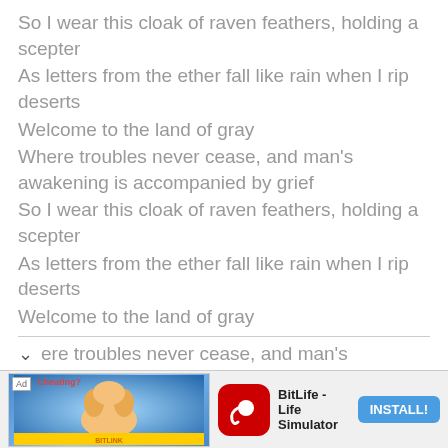So I wear this cloak of raven feathers, holding a scepter
As letters from the ether fall like rain when I rip deserts
Welcome to the land of gray
Where troubles never cease, and man's awakening is accompanied by grief
So I wear this cloak of raven feathers, holding a scepter
As letters from the ether fall like rain when I rip deserts
Welcome to the land of gray
ere troubles never cease, and man's
[Figure (infographic): Ad banner for BitLife - Life Simulator with install button]